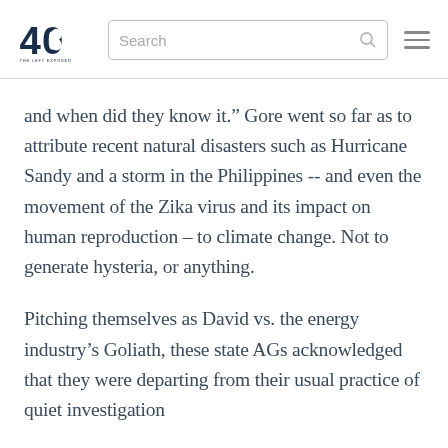40 | Search
and when did they know it.” Gore went so far as to attribute recent natural disasters such as Hurricane Sandy and a storm in the Philippines -- and even the movement of the Zika virus and its impact on human reproduction – to climate change. Not to generate hysteria, or anything.
Pitching themselves as David vs. the energy industry’s Goliath, these state AGs acknowledged that they were departing from their usual practice of quiet investigation